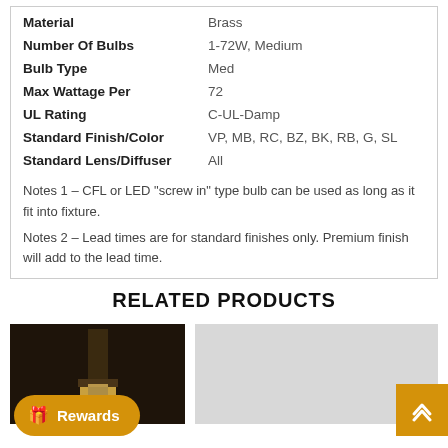| Attribute | Value |
| --- | --- |
| Material | Brass |
| Number Of Bulbs | 1-72W, Medium |
| Bulb Type | Med |
| Max Wattage Per | 72 |
| UL Rating | C-UL-Damp |
| Standard Finish/Color | VP, MB, RC, BZ, BK, RB, G, SL |
| Standard Lens/Diffuser | All |
Notes 1 – CFL or LED "screw in" type bulb can be used as long as it fit into fixture.
Notes 2 – Lead times are for standard finishes only. Premium finish will add to the lead time.
RELATED PRODUCTS
[Figure (photo): Related product image on the left – dark brown/black wall sconce fixture]
[Figure (photo): Related product image on the right – light gray background product image]